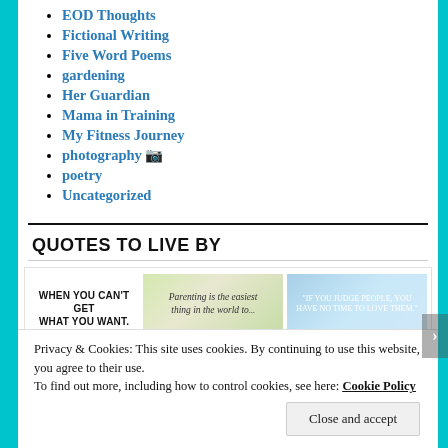EOD Thoughts
Fictional Writing
Five Word Poems
gardening
Her Guardian
Mama in Training
My Fitness Journey
photography 📷
poetry
Uncategorized
QUOTES TO LIVE BY
[Figure (photo): Three quote images in a gallery row: first shows text 'WHEN YOU CAN'T GET WHAT YOU WANT.' on white background; second shows 'Parenting is the easiest thing in the world to...' on green/nature background; third shows a light blue/glowing background with quote text.]
Privacy & Cookies: This site uses cookies. By continuing to use this website, you agree to their use. To find out more, including how to control cookies, see here: Cookie Policy
Close and accept